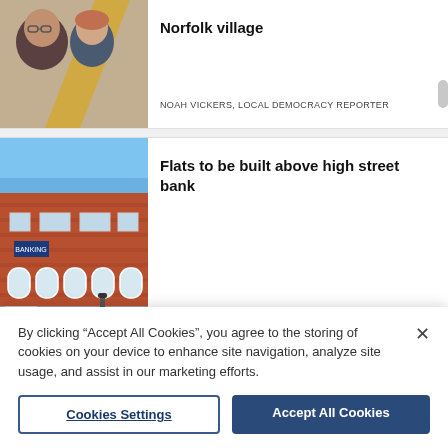[Figure (photo): Two people selfie photo — a man with glasses and a woman — against a textured wall background]
Norfolk village
NOAH VICKERS, LOCAL DEMOCRACY REPORTER
[Figure (photo): Photo of a red brick building on a high street, appears to be a bank branch with white-framed windows]
Flats to be built above high street bank
GEORGE THOMPSON, LOCAL DEMOCRACY REPORT
20mph speed limit mooted at new
By clicking “Accept All Cookies”, you agree to the storing of cookies on your device to enhance site navigation, analyze site usage, and assist in our marketing efforts.
Cookies Settings
Accept All Cookies